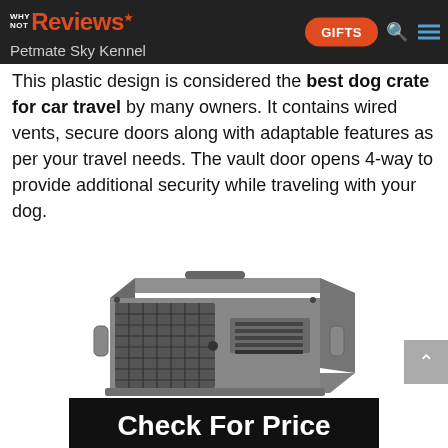Why Not Reviews — Petmate Sky Kennel
This plastic design is considered the best dog crate for car travel by many owners. It contains wired vents, secure doors along with adaptable features as per your travel needs. The vault door opens 4-way to provide additional security while traveling with your dog.
[Figure (photo): Photo of a grey Petmate Sky Kennel plastic dog crate with wire door and ventilation slots on the side.]
Check For Price